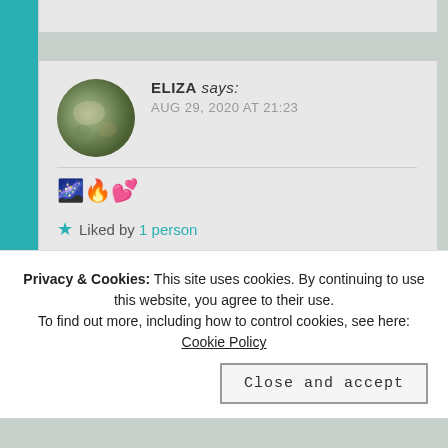ELIZA says: AUG 29, 2020 AT 21:23
🌌🔥💕
★ Liked by 1 person
↪ Reply
Privacy & Cookies: This site uses cookies. By continuing to use this website, you agree to their use. To find out more, including how to control cookies, see here: Cookie Policy
Close and accept